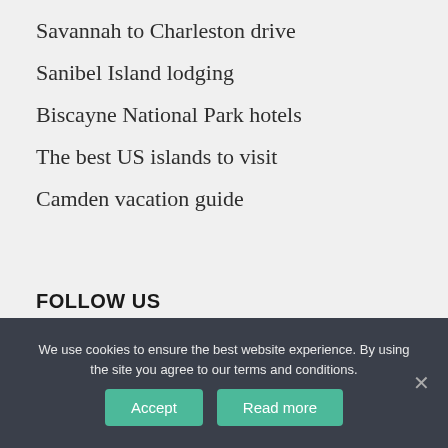Savannah to Charleston drive
Sanibel Island lodging
Biscayne National Park hotels
The best US islands to visit
Camden vacation guide
FOLLOW US
[Figure (infographic): Three social media icons (Facebook, Instagram, Pinterest) as teal circular buttons]
We use cookies to ensure the best website experience. By using the site you agree to our terms and conditions.